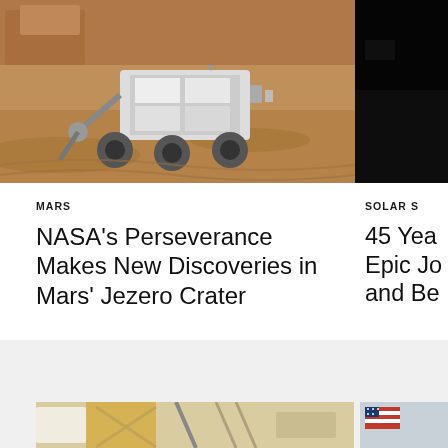[Figure (photo): Mars Perseverance rover on Martian surface, close-up of rover body and arm against reddish-brown sandy terrain]
[Figure (photo): Partially visible image with dark/black area, cropped on right edge]
MARS
NASA's Perseverance Makes New Discoveries in Mars' Jezero Crater
SOLAR S
45 Yea Epic Jo and Be
EXPLORE MORE
[Figure (photo): Partial image of a spacecraft or scientific equipment with golden/yellow colored components]
[Figure (photo): Partial image showing an American flag and other elements, cropped at page edge]